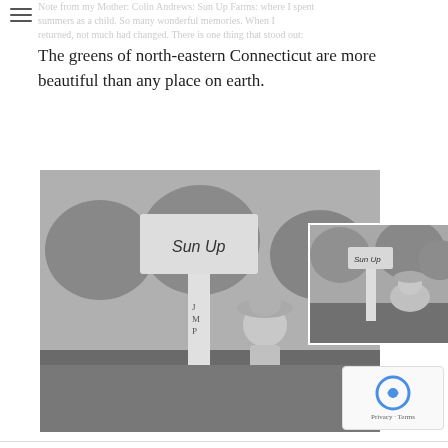Note from my Mother: Colin Andrews: Sun Up Farms: where I spent summers as a child. So many wonderful memories. When I returned, not much had changed. There is one thing that stood out:
The greens of north-eastern Connecticut are more beautiful than any place on earth.
[Figure (photo): Two overlapping black-and-white photographs of a child and an adult woman posing beside a white sign post reading 'Sun Up', set in a grassy outdoor area with trees in the background.]